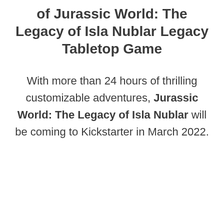of Jurassic World: The Legacy of Isla Nublar Legacy Tabletop Game
With more than 24 hours of thrilling customizable adventures, Jurassic World: The Legacy of Isla Nublar will be coming to Kickstarter in March 2022.